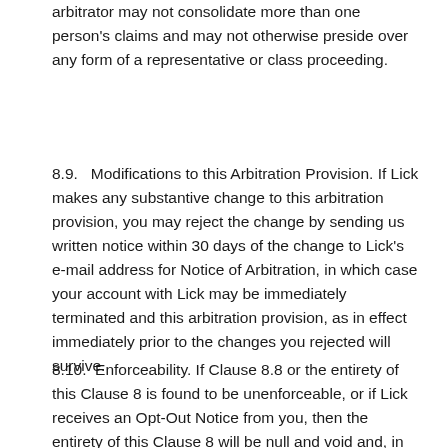arbitrator may not consolidate more than one person's claims and may not otherwise preside over any form of a representative or class proceeding.
8.9.   Modifications to this Arbitration Provision. If Lick makes any substantive change to this arbitration provision, you may reject the change by sending us written notice within 30 days of the change to Lick's e-mail address for Notice of Arbitration, in which case your account with Lick may be immediately terminated and this arbitration provision, as in effect immediately prior to the changes you rejected will survive.
8.10.  Enforceability. If Clause 8.8 or the entirety of this Clause 8 is found to be unenforceable, or if Lick receives an Opt-Out Notice from you, then the entirety of this Clause 8 will be null and void and, in